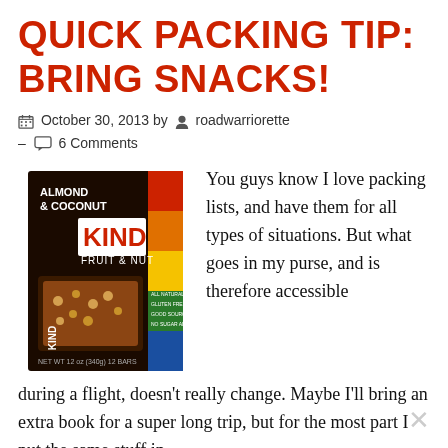QUICK PACKING TIP: BRING SNACKS!
October 30, 2013 by roadwarriorette – 6 Comments
[Figure (photo): Box of KIND Almond & Coconut Fruit & Nut bars]
You guys know I love packing lists, and have them for all types of situations. But what goes in my purse, and is therefore accessible during a flight, doesn't really change. Maybe I'll bring an extra book for a super long trip, but for the most part I put the same stuff in there. I...